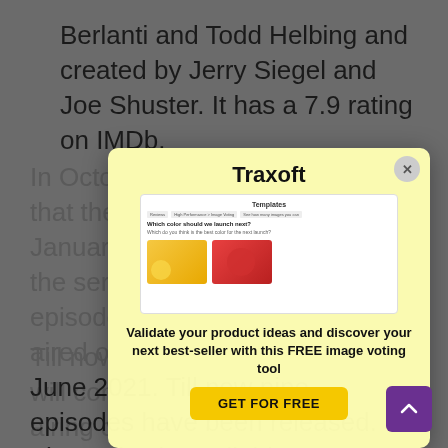Berlanti and Todd Helbing and created by Jerry Siegel and Joe Shuster. It has a 7.9 rating on IMDb.
[Figure (screenshot): A modal popup for 'Traxoft' showing a screenshot of a product templates page with two images (yellow and red items), promotional text 'Validate your product ideas and discover your next best-seller with this FREE image voting tool', and a 'GET FOR FREE' button.]
In October 2019 it was announced that the series is planned for January 2020. In October 2020 the series was started. The first episode of the series was first aired on 22 February 2021.
Till now it has 11 episodes and it will conclude this June. The last airing date is 22 June 2021. Till now nine episodes have been released. The series is available on CW Network.